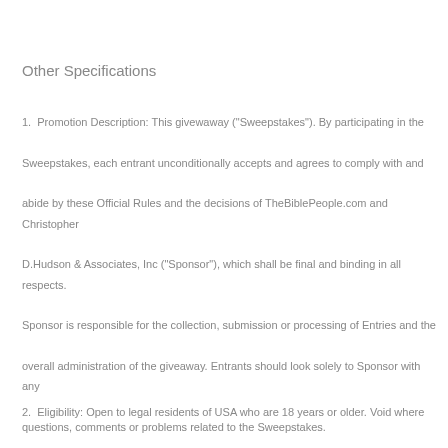Other Specifications
1.  Promotion Description: This givewaway ("Sweepstakes"). By participating in the Sweepstakes, each entrant unconditionally accepts and agrees to comply with and abide by these Official Rules and the decisions of TheBiblePeople.com and Christopher D.Hudson & Associates, Inc ("Sponsor"), which shall be final and binding in all respects. Sponsor is responsible for the collection, submission or processing of Entries and the overall administration of the giveaway. Entrants should look solely to Sponsor with any questions, comments or problems related to the Sweepstakes.
2.  Eligibility: Open to legal residents of USA who are 18 years or older. Void where